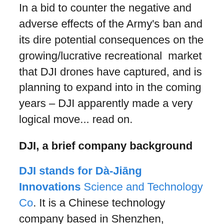In a bid to counter the negative and adverse effects of the Army's ban and its dire potential consequences on the growing/lucrative recreational market that DJI drones have captured, and is planning to expand into in the coming years – DJI apparently made a very logical move... read on.
DJI, a brief company background
DJI stands for Dà-Jiāng Innovations Science and Technology Co. It is a Chinese technology company based in Shenzhen, Guangdong. DJI is acknowledged as the world's leader in the civilian-drone and aerial imaging (photography and videography ) technology industry, cornering some 85% of the global consumer drone market. The company's